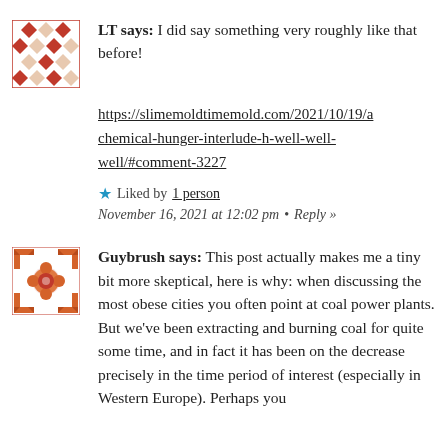LT says: I did say something very roughly like that before!
https://slimemoldtimemold.com/2021/10/19/a chemical-hunger-interlude-h-well-well-well/#comment-3227
Liked by 1 person
November 16, 2021 at 12:02 pm • Reply »
Guybrush says: This post actually makes me a tiny bit more skeptical, here is why: when discussing the most obese cities you often point at coal power plants. But we've been extracting and burning coal for quite some time, and in fact it has been on the decrease precisely in the time period of interest (especially in Western Europe). Perhaps you